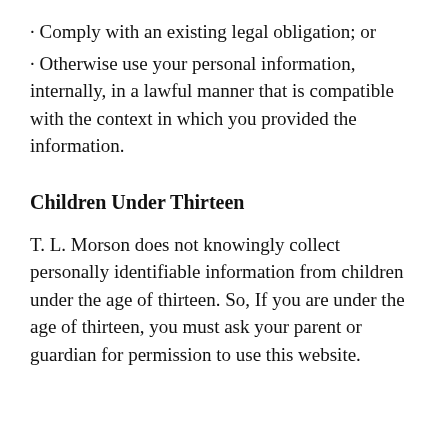· Comply with an existing legal obligation; or
· Otherwise use your personal information, internally, in a lawful manner that is compatible with the context in which you provided the information.
Children Under Thirteen
T. L. Morson does not knowingly collect personally identifiable information from children under the age of thirteen. So, If you are under the age of thirteen, you must ask your parent or guardian for permission to use this website.